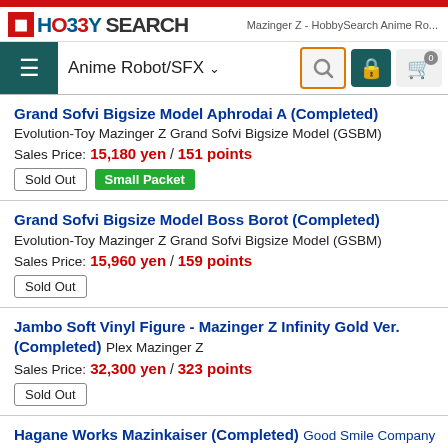Mazinger Z - HobbySearch Anime Ro...
[Figure (logo): Hobby Search logo with red icon and blue/red text]
Anime Robot/SFX
Grand Sofvi Bigsize Model Aphrodai A (Completed) Evolution-Toy Mazinger Z Grand Sofvi Bigsize Model (GSBM)
Sales Price: 15,180 yen / 151 points
[Sold Out] [Small Packet]
Grand Sofvi Bigsize Model Boss Borot (Completed) Evolution-Toy Mazinger Z Grand Sofvi Bigsize Model (GSBM)
Sales Price: 15,960 yen / 159 points
[Sold Out]
Jambo Soft Vinyl Figure - Mazinger Z Infinity Gold Ver. (Completed) Plex Mazinger Z
Sales Price: 32,300 yen / 323 points
[Sold Out]
Hagane Works Mazinkaiser (Completed) Good Smile Company Mazinger Z Hagane Works
Sales Price: 16,704 yen / 167 points
[Sold Out] [Small Packet]